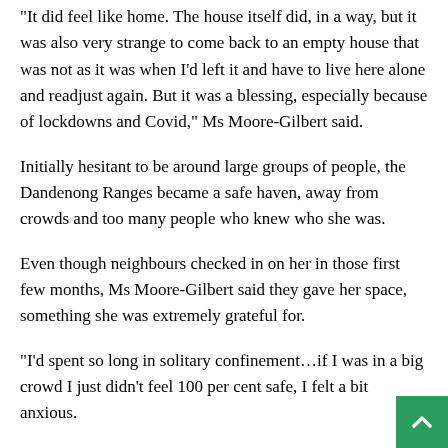“It did feel like home. The house itself did, in a way, but it was also very strange to come back to an empty house that was not as it was when I’d left it and have to live here alone and readjust again. But it was a blessing, especially because of lockdowns and Covid,” Ms Moore-Gilbert said.
Initially hesitant to be around large groups of people, the Dandenong Ranges became a safe haven, away from crowds and too many people who knew who she was.
Even though neighbours checked in on her in those first few months, Ms Moore-Gilbert said they gave her space, something she was extremely grateful for.
“I’d spent so long in solitary confinement…if I was in a big crowd I just didn’t feel 100 per cent safe, I felt a bit anxious.
[Figure (other): Back to top button - green square with white upward arrow chevron]